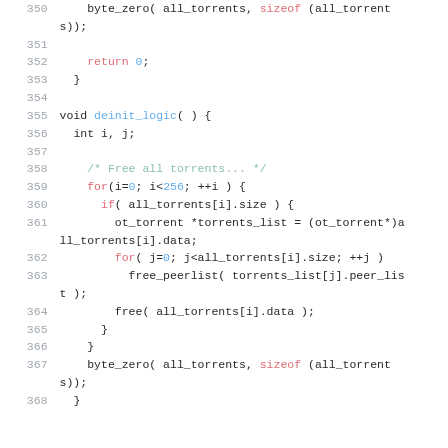Code listing lines 350-368: C source code showing byte_zero, return 0, deinit_logic function with loops freeing torrents